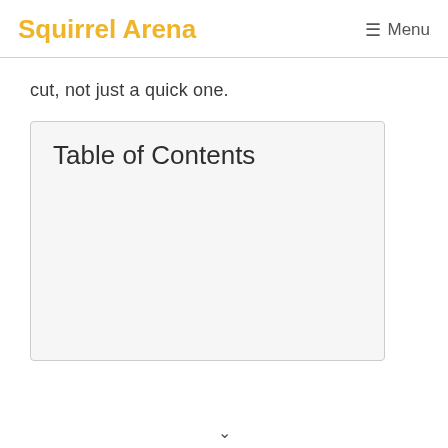Squirrel Arena  Menu
cut, not just a quick one.
Table of Contents